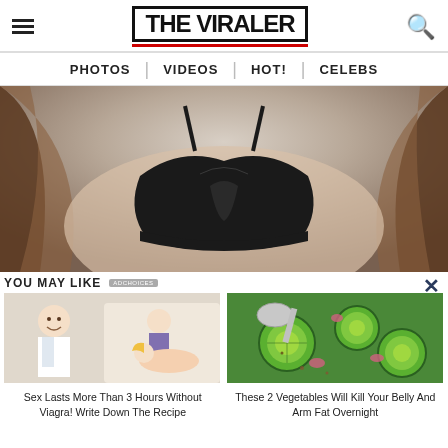THE VIRALER
PHOTOS | VIDEOS | HOT! | CELEBS
[Figure (photo): Close-up photo of a woman wearing a black bra, cropped to show torso and hair]
YOU MAY LIKE
[Figure (photo): Composite image of a doctor in white coat and a cartoon illustration of a couple]
Sex Lasts More Than 3 Hours Without Viagra! Write Down The Recipe
[Figure (photo): Close-up photo of sliced cucumbers with red onion and spices on a spoon]
These 2 Vegetables Will Kill Your Belly And Arm Fat Overnight